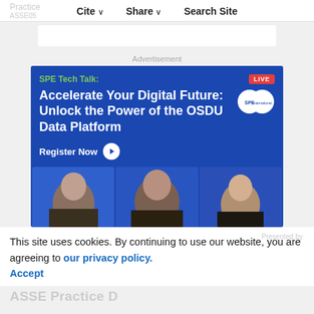Practice | Cite | Share | Search Site | ASSE05
Advertisement
[Figure (illustration): SPE Tech Talk advertisement banner on blue background. Green text 'SPE Tech Talk:' followed by white bold text 'Accelerate Your Digital Future: Unlock the Power of the OSDU Data Platform'. Red LIVE badge top right, SPE International globe logo. 'Register Now' button with play circle. Three speaker photos at bottom.]
This site uses cookies. By continuing to use our website, you are agreeing to our privacy policy. Accept